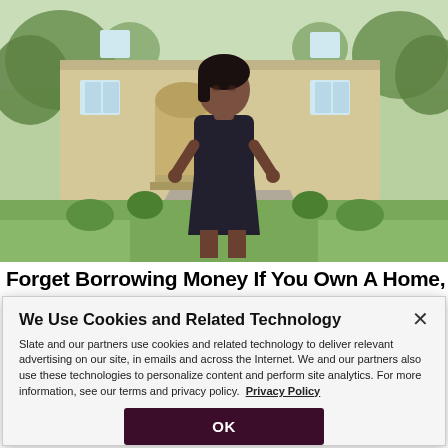[Figure (photo): Woman in dark dress standing in front of a large house with green lawn and trees]
Forget Borrowing Money If You Own A Home, Do
We Use Cookies and Related Technology
Slate and our partners use cookies and related technology to deliver relevant advertising on our site, in emails and across the Internet. We and our partners also use these technologies to personalize content and perform site analytics. For more information, see our terms and privacy policy.  Privacy Policy
OK